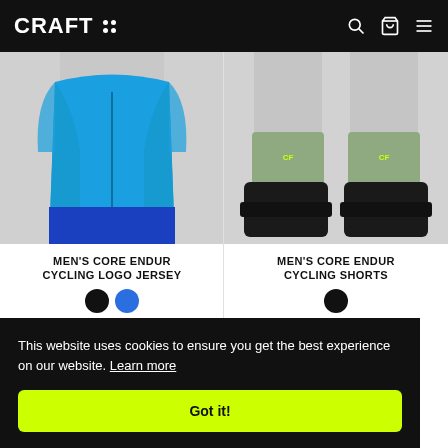CRAFT (logo with navigation icons)
[Figure (photo): Man wearing blue cycling jersey and blue shorts, cropped torso view]
[Figure (photo): Person wearing sage green cycling socks and black cycling shoes, lower legs view]
MEN'S CORE ENDUR CYCLING LOGO JERSEY
MEN'S CORE ENDUR CYCLING SHORTS
US $24.00 – US $59.99
US $74.99
This website uses cookies to ensure you get the best experience on our website. Learn more
Got it!